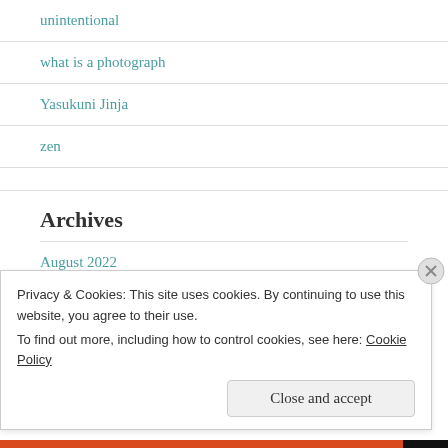unintentional
what is a photograph
Yasukuni Jinja
zen
Archives
August 2022
Privacy & Cookies: This site uses cookies. By continuing to use this website, you agree to their use.
To find out more, including how to control cookies, see here: Cookie Policy
Close and accept